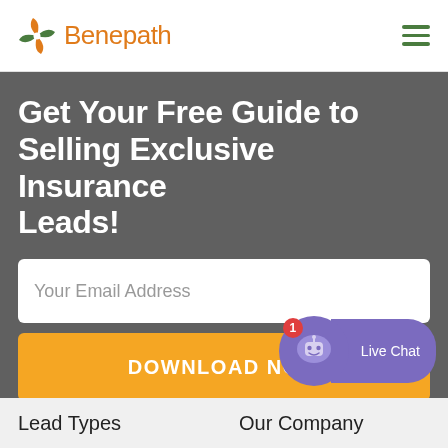[Figure (logo): Benepath logo with green pinwheel icon and orange text]
Get Your Free Guide to Selling Exclusive Insurance Leads!
Your Email Address
DOWNLOAD NOW
[Figure (illustration): Live Chat chatbot widget with purple bubble, robot face icon, red badge showing 1, and Live Chat label]
Lead Types
Our Company